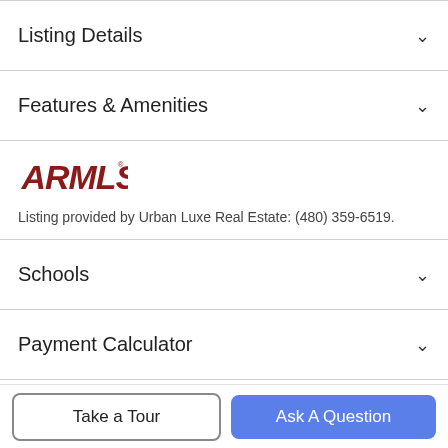Listing Details
Features & Amenities
[Figure (logo): ARMLS logo in dark red bold italic text]
Listing provided by Urban Luxe Real Estate: (480) 359-6519.
Schools
Payment Calculator
Contact Agent
Take a Tour
Ask A Question